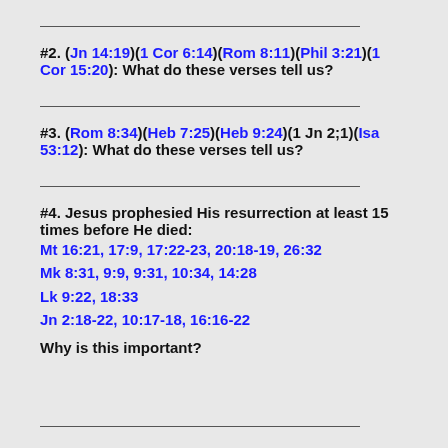#2. (Jn 14:19)(1 Cor 6:14)(Rom 8:11)(Phil 3:21)(1 Cor 15:20): What do these verses tell us?
#3. (Rom 8:34)(Heb 7:25)(Heb 9:24)(1 Jn 2;1)(Isa 53:12): What do these verses tell us?
#4. Jesus prophesied His resurrection at least 15 times before He died:
Mt 16:21, 17:9, 17:22-23, 20:18-19, 26:32
Mk 8:31, 9:9, 9:31, 10:34, 14:28
Lk 9:22, 18:33
Jn 2:18-22, 10:17-18, 16:16-22
Why is this important?